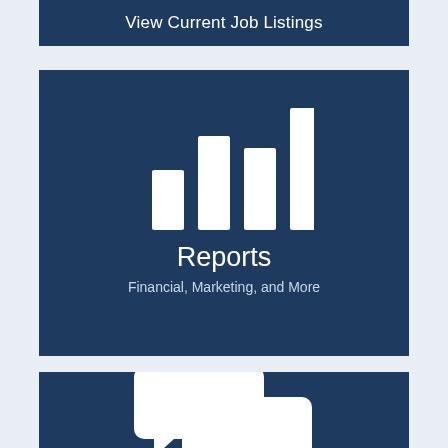View Current Job Listings
[Figure (illustration): Bar chart icon with 4 ascending white bars on dark blue background, with text 'Reports' and subtitle 'Financial, Marketing, and More']
Reports
Financial, Marketing, and More
[Figure (illustration): Two speech bubble / chat icons (white) on dark blue background, partially visible]